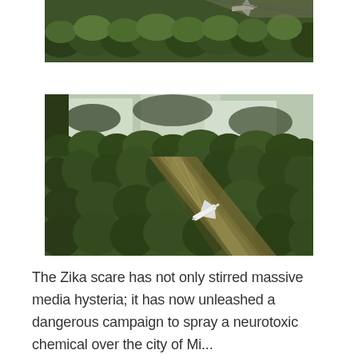[Figure (photo): Aerial view of a small white crop-duster / spray plane flying over dense green forest treetops. Partial top crop of the image.]
[Figure (photo): Aerial photograph of a small white twin-engine plane spraying a wide swath over dense green forest and wetlands. A diagonal cleared or sprayed strip cuts through the trees, with a reflective water body visible in the upper background.]
The Zika scare has not only stirred massive media hysteria; it has now unleashed a dangerous campaign to spray a neurotoxic chemical over the city of Miami and surrounding...